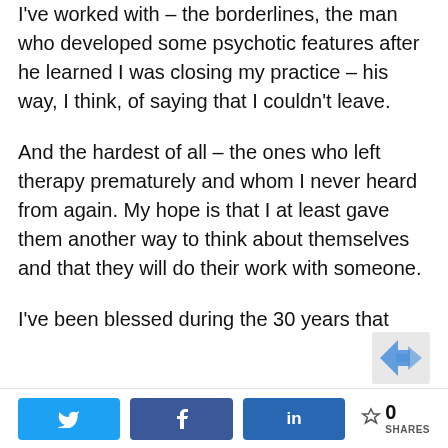I've worked with – the borderlines, the man who developed some psychotic features after he learned I was closing my practice – his way, I think, of saying that I couldn't leave.
And the hardest of all – the ones who left therapy prematurely and whom I never heard from again. My hope is that I at least gave them another way to think about themselves and that they will do their work with someone.
I've been blessed during the 30 years that
[Figure (other): Social share bar with Twitter, Facebook, LinkedIn buttons and a share count showing 0 SHARES, plus a reCAPTCHA widget]